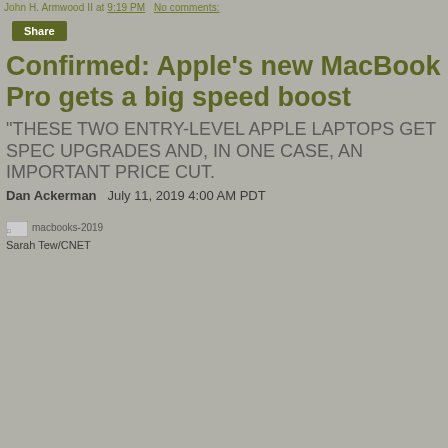John H. Armwood II at 9:19 PM   No comments:
Share
Confirmed: Apple's new MacBook Pro gets a big speed boost
"THESE TWO ENTRY-LEVEL APPLE LAPTOPS GET SPEC UPGRADES AND, IN ONE CASE, AN IMPORTANT PRICE CUT.
Dan Ackerman   July 11, 2019 4:00 AM PDT
[Figure (photo): macbooks-2019 placeholder image]
Sarah Tew/CNET